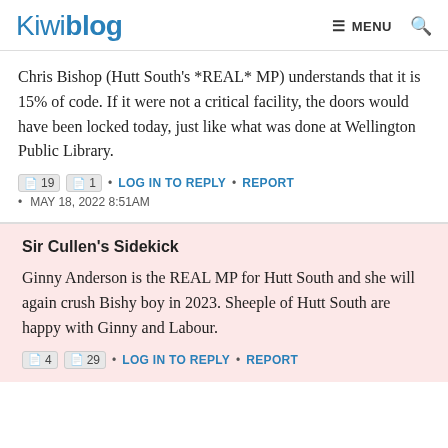Kiwiblog  ☰ MENU  🔍
Chris Bishop (Hutt South's *REAL* MP) understands that it is 15% of code. If it were not a critical facility, the doors would have been locked today, just like what was done at Wellington Public Library.
19 1 • LOG IN TO REPLY • REPORT • MAY 18, 2022 8:51AM
Sir Cullen's Sidekick
Ginny Anderson is the REAL MP for Hutt South and she will again crush Bishy boy in 2023. Sheeple of Hutt South are happy with Ginny and Labour.
4 29 • LOG IN TO REPLY • REPORT